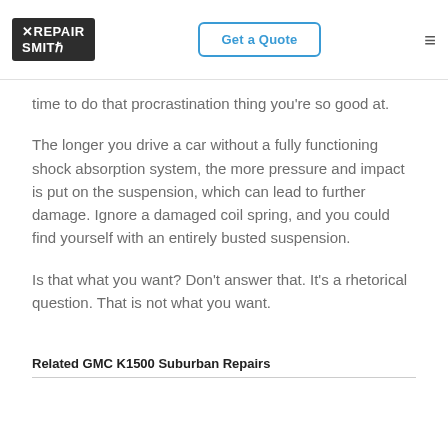RepairSmith | Get a Quote
time to do that procrastination thing you're so good at.
The longer you drive a car without a fully functioning shock absorption system, the more pressure and impact is put on the suspension, which can lead to further damage. Ignore a damaged coil spring, and you could find yourself with an entirely busted suspension.
Is that what you want? Don't answer that. It's a rhetorical question. That is not what you want.
Related GMC K1500 Suburban Repairs